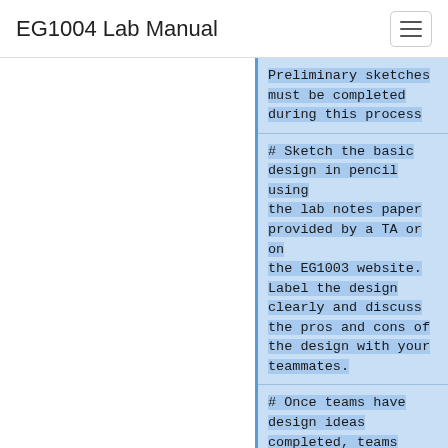EG1004 Lab Manual
Preliminary sketches must be completed during this process
# Sketch the basic design in pencil using the lab notes paper provided by a TA or on the EG1003 website. Label the design clearly and discuss the pros and cons of the design with your teammates.
# Once teams have design ideas completed, teams will be combined to make sure there are an